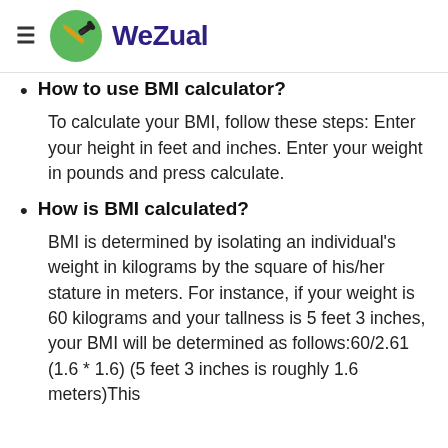WeZual
How to use BMI calculator?
To calculate your BMI, follow these steps: Enter your height in feet and inches. Enter your weight in pounds and press calculate.
How is BMI calculated?
BMI is determined by isolating an individual's weight in kilograms by the square of his/her stature in meters. For instance, if your weight is 60 kilograms and your tallness is 5 feet 3 inches, your BMI will be determined as follows:60/2.61 (1.6 * 1.6) (5 feet 3 inches is roughly 1.6 meters)This